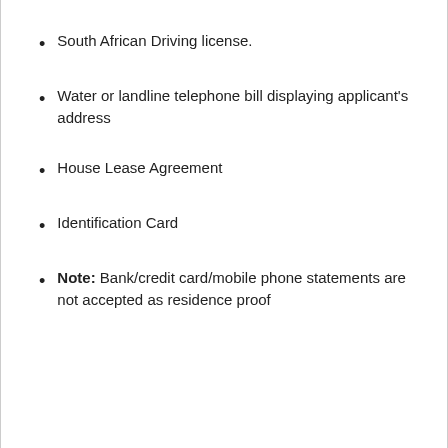South African Driving license.
Water or landline telephone bill displaying applicant's address
House Lease Agreement
Identification Card
Note: Bank/credit card/mobile phone statements are not accepted as residence proof